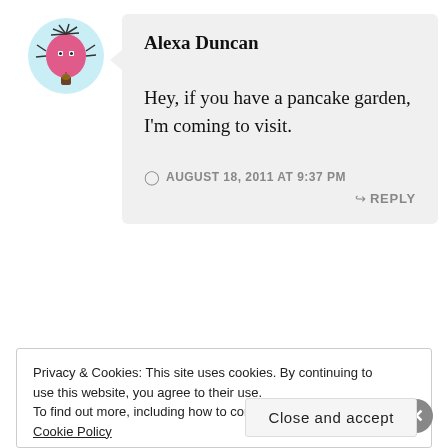[Figure (illustration): Cartoon avatar of a pink stylized tree with a face and branches, on a light blue circular background]
Alexa Duncan
Hey, if you have a pancake garden, I'm coming to visit.
AUGUST 18, 2011 AT 9:37 PM
REPLY
Privacy & Cookies: This site uses cookies. By continuing to use this website, you agree to their use.
To find out more, including how to control cookies, see here: Cookie Policy
Close and accept